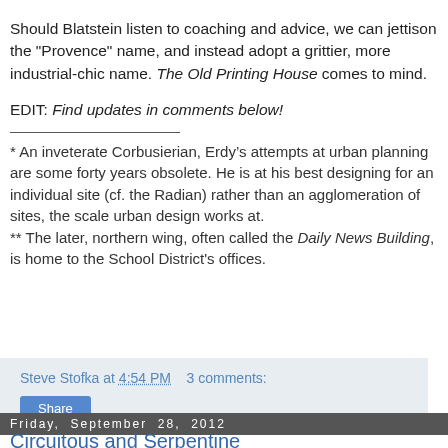Should Blatstein listen to coaching and advice, we can jettison the "Provence" name, and instead adopt a grittier, more industrial-chic name. The Old Printing House comes to mind.
EDIT: Find updates in comments below!
* An inveterate Corbusierian, Erdy’s attempts at urban planning are some forty years obsolete. He is at his best designing for an individual site (cf. the Radian) rather than an agglomeration of sites, the scale urban design works at. ** The later, northern wing, often called the Daily News Building, is home to the School District's offices.
Steve Stofka at 4:54 PM   3 comments:
Share
Friday, September 28, 2012
Circuitous and Serpentine